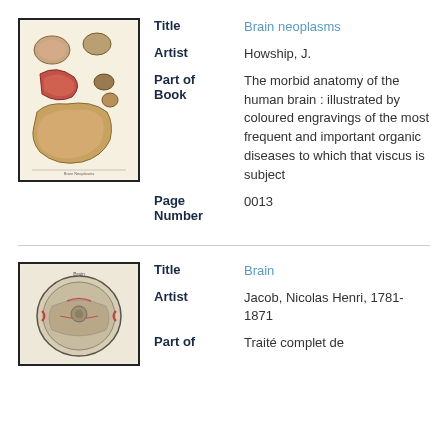[Figure (illustration): Coloured engraving of brain neoplasms showing various anatomical specimens on a cream background]
Title: Brain neoplasms
Artist: Howship, J.
Part of Book: The morbid anatomy of the human brain : illustrated by coloured engravings of the most frequent and important organic diseases to which that viscus is subject
Page Number: 0013
[Figure (illustration): Coloured engraving of the brain viewed from below, circular cross-section with anatomical details]
Title: Brain
Artist: Jacob, Nicolas Henri, 1781-1871
Part of: Traité complet de